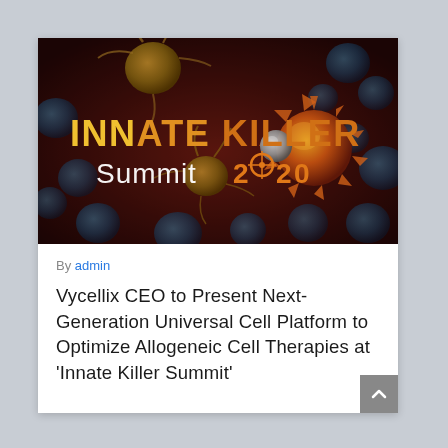[Figure (illustration): Innate Killer Summit 2020 promotional image showing cancer cells and immune cells on a dark red/maroon background with glowing text 'INNATE KILLER Summit 2020' with a target crosshair on the zero]
By admin
Vycellix CEO to Present Next-Generation Universal Cell Platform to Optimize Allogeneic Cell Therapies at ‘Innate Killer Summit’